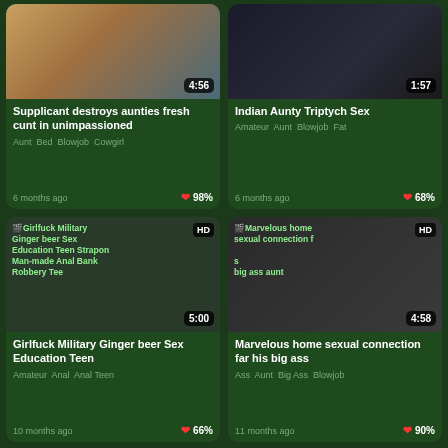[Figure (photo): Video thumbnail showing adult content with duration badge 4:56]
Supplicant destroys aunties fresh cunt in unimpassioned
Aunt · Bed · Blowjob · Cowgirl
6 months ago · 98%
[Figure (photo): Video thumbnail showing adult content with duration badge 1:57]
Indian Aunty Triptych Sex
Amateur · Aunt · Blowjob · Fat
6 months ago · 68%
[Figure (photo): Video thumbnail with overlay text and HD badge, duration 5:00]
Girlfuck Military Ginger beer Sex Education Teen
Amateur · Anal · Anal Teen
10 months ago · 66%
[Figure (photo): Video thumbnail with overlay text and HD badge, duration 4:58]
Marvelous home sexual connection far his big ass
Ass · Aunt · Big Ass · Blowjob
11 months ago · 90%